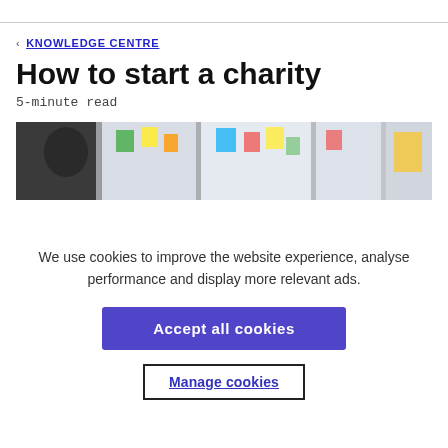< KNOWLEDGE CENTRE
How to start a charity
5-minute read
[Figure (photo): A person reviewing sticky notes on a glass partition in an office setting]
We use cookies to improve the website experience, analyse performance and display more relevant ads.
Accept all cookies
Manage cookies